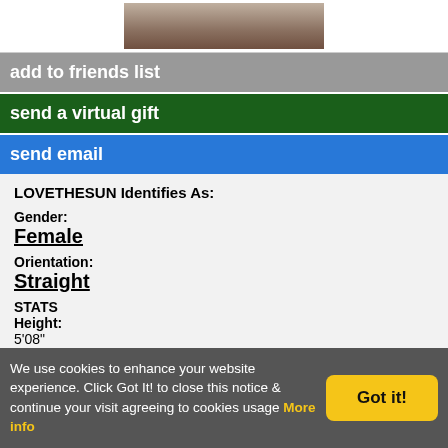[Figure (photo): Partial photo of a person visible at the top of the page]
add to friends list
send a virtual gift
send email
LOVETHESUN Identifies As:
Gender:
Female
Orientation:
Straight
STATS
Height:
5'08"
Weight:
000 lbs
Age:
0 years old
We use cookies to enhance your website experience. Click Got It! to close this notice & continue your visit agreeing to cookies usage  More info
Got it!